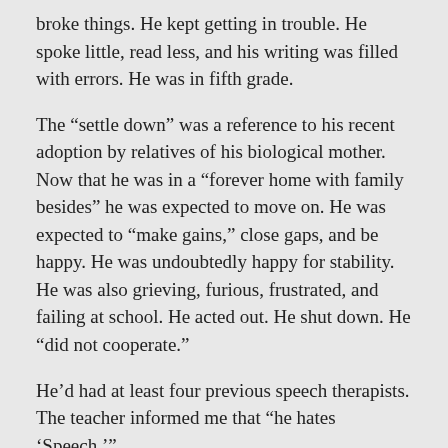broke things. He kept getting in trouble. He spoke little, read less, and his writing was filled with errors. He was in fifth grade.
The “settle down” was a reference to his recent adoption by relatives of his biological mother. Now that he was in a “forever home with family besides” he was expected to move on. He was expected to “make gains,” close gaps, and be happy. He was undoubtedly happy for stability. He was also grieving, furious, frustrated, and failing at school. He acted out. He shut down. He “did not cooperate.”
He’d had at least four previous speech therapists. The teacher informed me that “he hates ‘Speech.’”
“You don’t look thrilled to have another speech